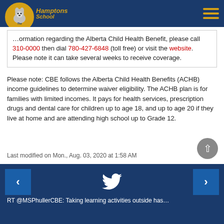The Hamptons School
…ormation regarding the Alberta Child Health Benefit, please call 310-0000 then dial 780-427-6848 (toll free) or visit the website. Please note it can take several weeks to receive coverage.
Please note: CBE follows the Alberta Child Health Benefits (ACHB) income guidelines to determine waiver eligibility. The ACHB plan is for families with limited incomes. It pays for health services, prescription drugs and dental care for children up to age 18, and up to age 20 if they live at home and are attending high school up to Grade 12.
Last modified on Mon., Aug. 03, 2020 at 1:58 AM
RT @MSPhullerCBE: Taking learning activities outside has…